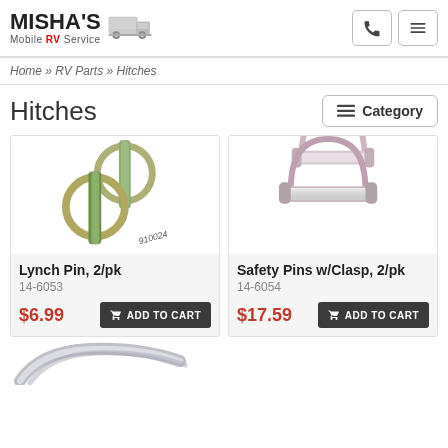MISHA'S Mobile RV Service
Home » RV Parts » Hitches
Hitches
[Figure (photo): Two Lynch Pins (circular ring pins) with product number 910024]
Lynch Pin, 2/pk
14-6053
$6.99
[Figure (photo): Two Safety Pins with Clasp (U-shaped wire bail pins)]
Safety Pins w/Clasp, 2/pk
14-6054
$17.59
[Figure (photo): Partial view of a third product at the bottom of the page]